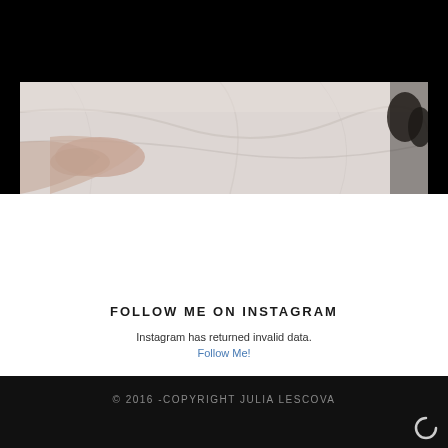[Figure (photo): Partial photo strip showing a person's hand/arm resting on a light-colored surface, bottom portion of an image with white/grey tones]
FOLLOW ME ON INSTAGRAM
Instagram has returned invalid data.
Follow Me!
© 2016 -COPYRIGHT JULIA LESCOVA